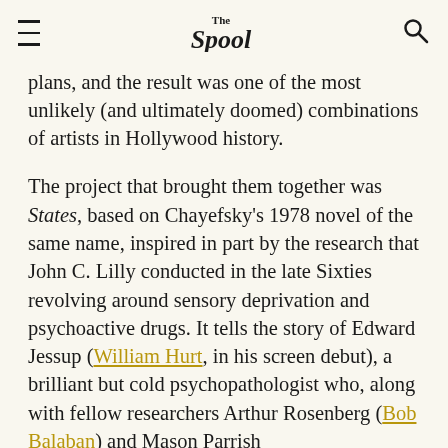The Spool
plans, and the result was one of the most unlikely (and ultimately doomed) combinations of artists in Hollywood history.
The project that brought them together was States, based on Chayefsky's 1978 novel of the same name, inspired in part by the research that John C. Lilly conducted in the late Sixties revolving around sensory deprivation and psychoactive drugs. It tells the story of Edward Jessup (William Hurt, in his screen debut), a brilliant but cold psychopathologist who, along with fellow researchers Arthur Rosenberg (Bob Balaban) and Mason Parrish